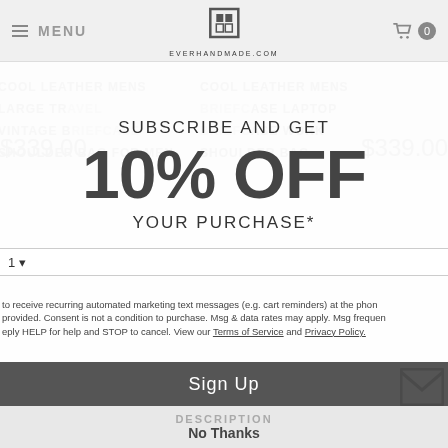MENU | EVERHANDMADE.COM | 0
[Figure (screenshot): Product listing background showing leather bags with prices $339.00]
SUBSCRIBE AND GET
10% OFF
YOUR PURCHASE*
1
to receive recurring automated marketing text messages (e.g. cart reminders) at the phone provided. Consent is not a condition to purchase. Msg & data rates may apply. Msg frequency vary. Reply HELP for help and STOP to cancel. View our Terms of Service and Privacy Policy.
Sign Up
DESCRIPTION
No Thanks